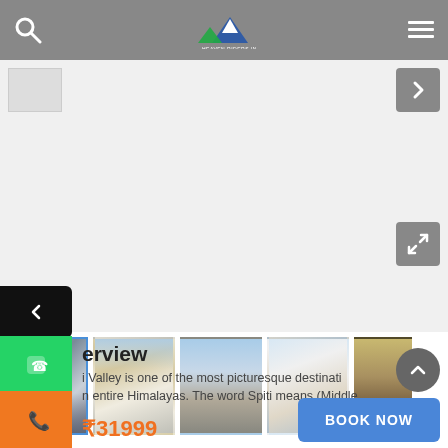[Figure (screenshot): Website header bar with search icon, Heaven Riders India logo (mountain graphic), and hamburger menu on gray background]
[Figure (photo): Main large image area - appears blank/white in this view]
[Figure (photo): Thumbnail strip with 5 travel photos: snowy mountain village, white building with thatched roof, motorcyclists on mountain road, Buddhist stupa, person wrapped in yellow cloth]
erview
i Valley is one of the most picturesque destinati
n entire Himalayas. The word Spiti means [Middle
₹31999
[Figure (screenshot): BOOK NOW blue button]